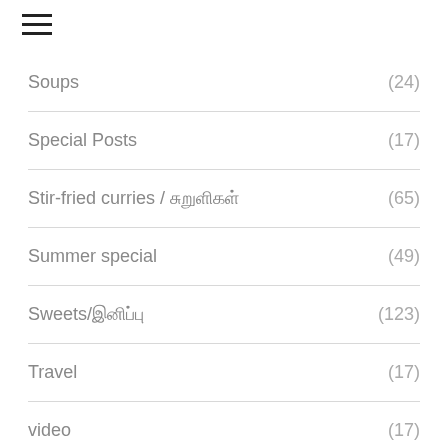Soups (24)
Special Posts (17)
Stir-fried curries / ???????? (65)
Summer special (49)
Sweets/???????? (123)
Travel (17)
video (17)
Video Recipes (201)
videos (127)